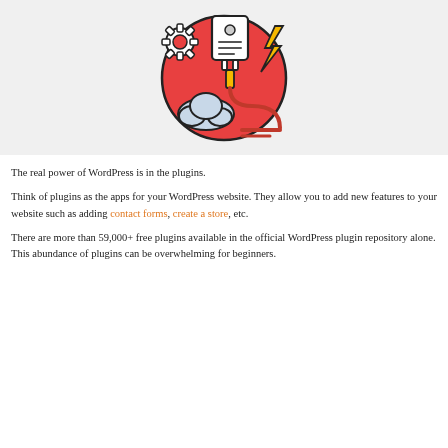[Figure (illustration): WordPress plugins icon: a plug/connector device with a gear, document lines, lightning bolt, and a cloud, set against a red circular background, illustrated in a flat icon style]
The real power of WordPress is in the plugins.
Think of plugins as the apps for your WordPress website. They allow you to add new features to your website such as adding contact forms, create a store, etc.
There are more than 59,000+ free plugins available in the official WordPress plugin repository alone. This abundance of plugins can be overwhelming for beginners.